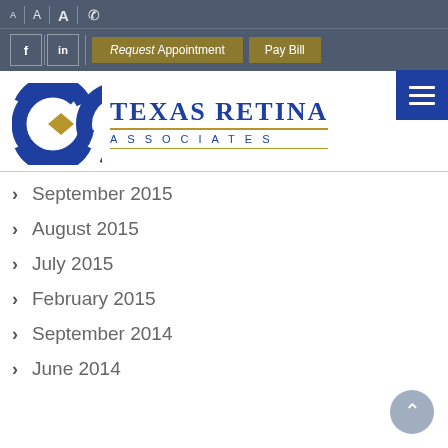A A A [phone] | f | in | Request Appointment | Pay Bill
[Figure (logo): Texas Retina Associates logo with blue C-shaped mark and gold diamond, and blue text 'Texas Retina Associates']
September 2015
August 2015
July 2015
February 2015
September 2014
June 2014